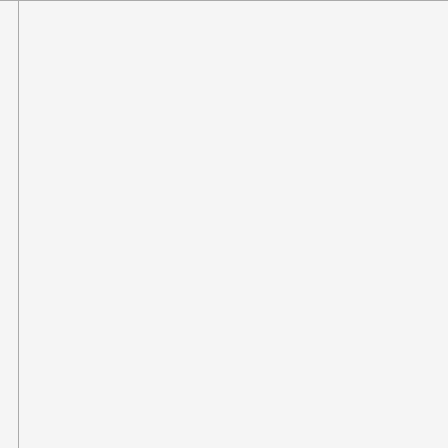would be too great if it were included cushions. There are several connotations of cushion alone: that a zabuton is usually specifically intended for use in a tatami room. (1988:83) describes this strategy as capturing the essence of what is going on, but his to deny that such translations can convey can ever be entirely culture-free, and rooted in the domestic culture; besides cushions to suggest a nearby armchair, floor, etc.. Certainly, it is unlikely that to in the Japanese. While we cannot that there will be common features in created by English readers, and vice versa but the translator is unable to find a same time destroying other relevant
This is not to suggest that a different ourselves that however rigorous the words on the page to images drawn communication can be achieved only comprehensible in a distinctly domestic attention on the features of the object will usually be a more general term t explicitly through classifiers and epithet item familiar to domestic readers. Fo
in Some Prefer Nettles:
nurimono (p.23) ⇒ wooden la